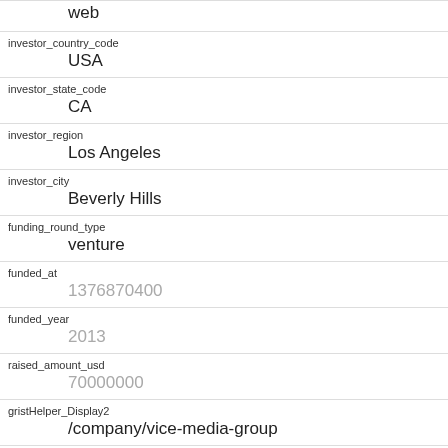| field | value |
| --- | --- |
| investor_country_code | USA |
| investor_state_code | CA |
| investor_region | Los Angeles |
| investor_city | Beverly Hills |
| funding_round_type | venture |
| funded_at | 1376870400 |
| funded_year | 2013 |
| raised_amount_usd | 70000000 |
| gristHelper_Display2 | /company/vice-media-group |
| Company_category_code | news |